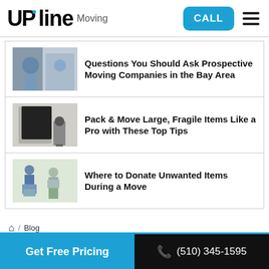UPline Moving | CALL | Menu
Questions You Should Ask Prospective Moving Companies in the Bay Area
Pack & Move Large, Fragile Items Like a Pro with These Top Tips
Where to Donate Unwanted Items During a Move
/ Blog / Providing Moving Services with Extra Health Precautions for COVID-19
Get Free Pricing | (510) 345-1595